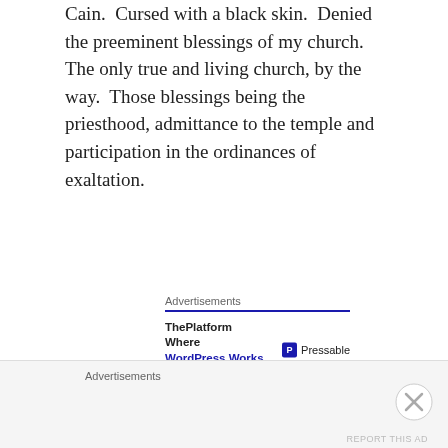Cain. Cursed with a black skin. Denied the preeminent blessings of my church. The only true and living church, by the way. Those blessings being the priesthood, admittance to the temple and participation in the ordinances of exaltation.
[Figure (other): Advertisement banner for ThePlatform Where WordPress Works Best — Pressable]
Why had they been born into the accursed race? Why...because they had not been valiant in the preexistence during the war in heaven. I have a white skin...I was totally valiant.
In 1978, our racist practices were overturned by
[Figure (other): Bottom advertisements bar with close button]